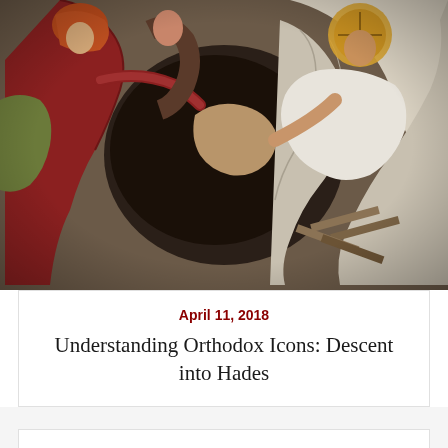[Figure (illustration): Orthodox Christian icon depicting the Descent into Hades (Anastasis). A Byzantine-style fresco showing Christ in white robes pulling figures from tombs, with other saints and figures around him. Text in Church Slavonic or Greek visible in the center. Rich colors of red, gold, white, and brown.]
April 11, 2018
Understanding Orthodox Icons: Descent into Hades
About Us